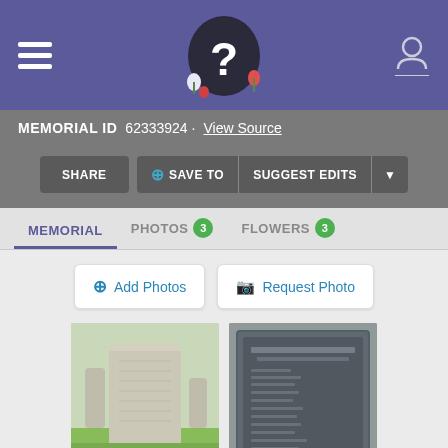Navigation header with hamburger menu, Find A Grave logo, and user icon
MEMORIAL ID  62333924 · View Source
SHARE  + SAVE TO  SUGGEST EDITS  ▾
MEMORIAL  PHOTOS 3  FLOWERS 3
+ Add Photos  📷 Request Photo
[Figure (photo): Gravestone photo — upright stone marker in cemetery with grass]
[Figure (photo): Gravestone photo — dark bronze or granite plaque with text in a frame]